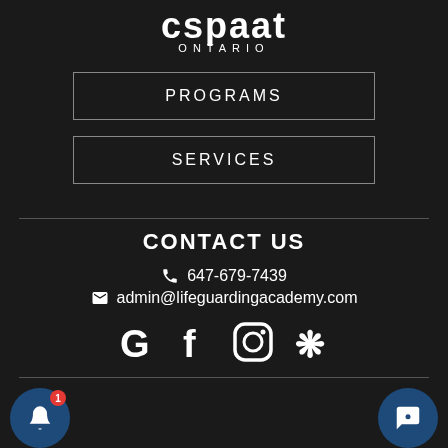[Figure (logo): cspaat Ontario logo in white text on dark background]
PROGRAMS
SERVICES
CONTACT US
647-679-7439
admin@lifeguardingacademy.com
[Figure (infographic): Social media icons row: Google, Facebook, Instagram, Yelp]
[Figure (infographic): Bottom bar with notification bell button (left) and chat button (right)]